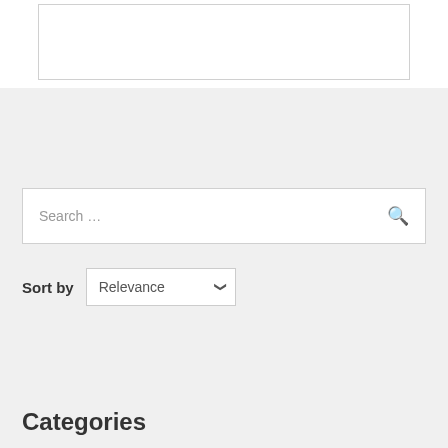[Figure (screenshot): Top portion of a webpage showing a white content box with a light gray border]
Search ...
Sort by Relevance
Categories